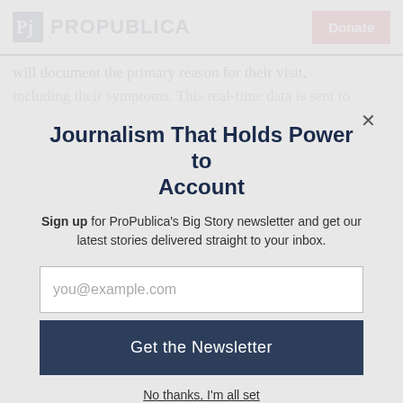ProPublica | Donate
will document the primary reason for their visit, including their symptoms. This real-time data is sent to
Journalism That Holds Power to Account
Sign up for ProPublica's Big Story newsletter and get our latest stories delivered straight to your inbox.
you@example.com
Get the Newsletter
No thanks, I'm all set
This site is protected by reCAPTCHA and the Google Privacy Policy and Terms of Service apply.